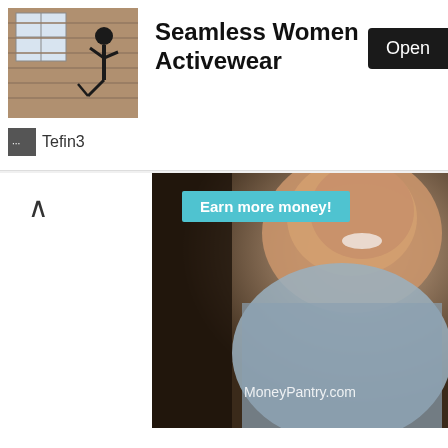[Figure (screenshot): App store ad thumbnail showing a person doing a yoga/dance pose against a brick wall background]
Seamless Women Activewear
Open
Tefin3
[Figure (photo): Advertisement photo of a smiling woman in a grey sleeveless blouse with text overlay 'Earn more money!' and watermark 'MoneyPantry.com']